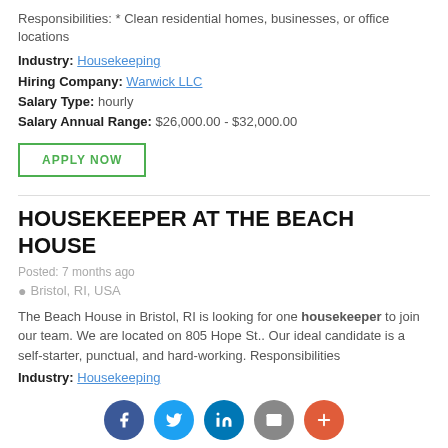Responsibilities: * Clean residential homes, businesses, or office locations
Industry: Housekeeping
Hiring Company: Warwick LLC
Salary Type: hourly
Salary Annual Range: $26,000.00 - $32,000.00
APPLY NOW
HOUSEKEEPER AT THE BEACH HOUSE
Posted: 7 months ago
Bristol, RI, USA
The Beach House in Bristol, RI is looking for one housekeeper to join our team. We are located on 805 Hope St.. Our ideal candidate is a self-starter, punctual, and hard-working. Responsibilities
Industry: Housekeeping
Hiring Company: The Beach House